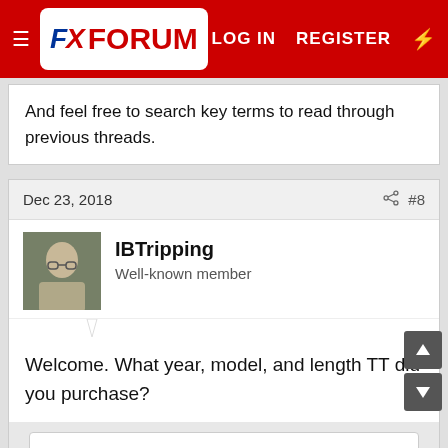FX FORUM — LOG IN  REGISTER
And feel free to search key terms to read through previous threads.
Dec 23, 2018  #8
IBTripping
Well-known member
Welcome. What year, model, and length TT did you purchase?
You must log in or register to reply here.
Latest posts